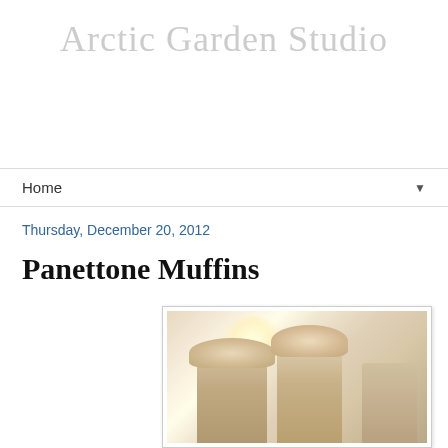Arctic Garden Studio
Home
Thursday, December 20, 2012
Panettone Muffins
[Figure (photo): Close-up photo of panettone muffins in white paper cups with bokeh light background]